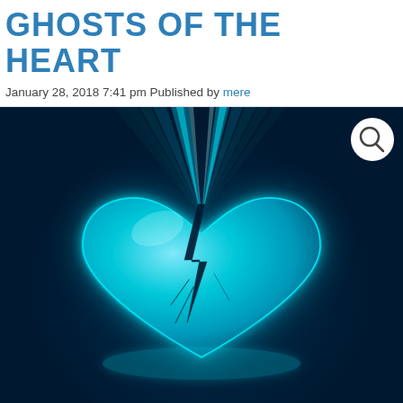GHOSTS OF THE HEART
January 28, 2018 7:41 pm Published by mere
[Figure (illustration): A glowing cyan/blue broken heart illustration on a dark navy background, with rays of light emanating upward from the heart. A search icon (magnifying glass) appears in the top-right corner inside a white circle.]